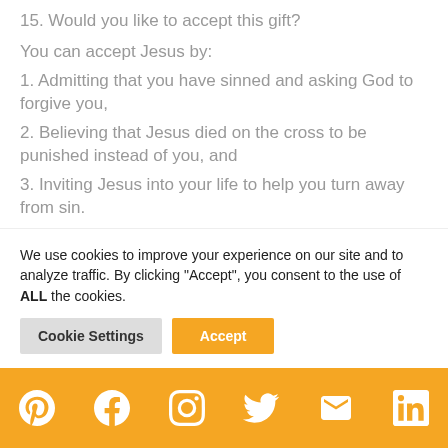15. Would you like to accept this gift?
You can accept Jesus by:
1. Admitting that you have sinned and asking God to forgive you,
2. Believing that Jesus died on the cross to be punished instead of you, and
3. Inviting Jesus into your life to help you turn away from sin.
You can talk to Jesus about this right now:
[partially visible text]
We use cookies to improve your experience on our site and to analyze traffic. By clicking "Accept", you consent to the use of ALL the cookies.
Social media icons: Pinterest, Facebook, Instagram, Twitter, Email, LinkedIn